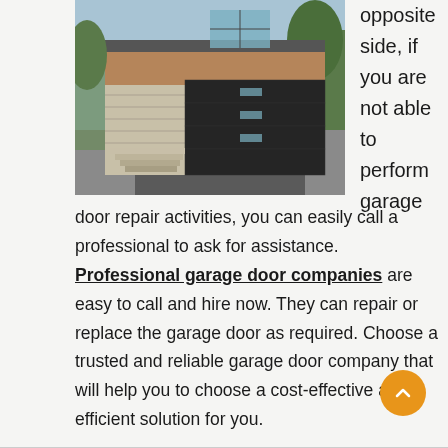[Figure (photo): Modern house exterior with a large black garage door with glass panels, stone steps, and trees in the background]
opposite side, if you are not able to perform garage door repair activities, you can easily call a professional to ask for assistance. Professional garage door companies are easy to call and hire now. They can repair or replace the garage door as required. Choose a trusted and reliable garage door company that will help you to choose a cost-effective and efficient solution for you.